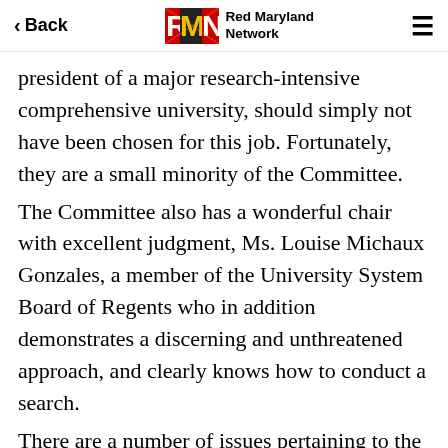Back | Red Maryland Network
president of a major research-intensive comprehensive university, should simply not have been chosen for this job. Fortunately, they are a small minority of the Committee.
The Committee also has a wonderful chair with excellent judgment, Ms. Louise Michaux Gonzales, a member of the University System Board of Regents who in addition demonstrates a discerning and unthreatened approach, and clearly knows how to conduct a search.
There are a number of issues pertaining to the search that deal with whether Towson will continue to produce excellent teachers (note to the higher education-challenged: TU, unlike many of its competitors, puts a